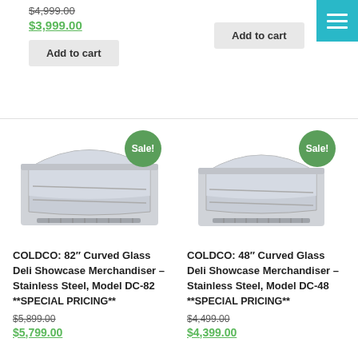$4,999.00 (strikethrough)
$3,999.00
Add to cart
Add to cart
[Figure (photo): COLDCO 82 inch Curved Glass Deli Showcase Merchandiser, stainless steel, with Sale badge]
[Figure (photo): COLDCO 48 inch Curved Glass Deli Showcase Merchandiser, stainless steel, with Sale badge]
COLDCO: 82″ Curved Glass Deli Showcase Merchandiser – Stainless Steel, Model DC-82 **SPECIAL PRICING**
COLDCO: 48″ Curved Glass Deli Showcase Merchandiser – Stainless Steel, Model DC-48 **SPECIAL PRICING**
$5,899.00 (strikethrough)
$5,799.00
$4,499.00 (strikethrough)
$4,399.00